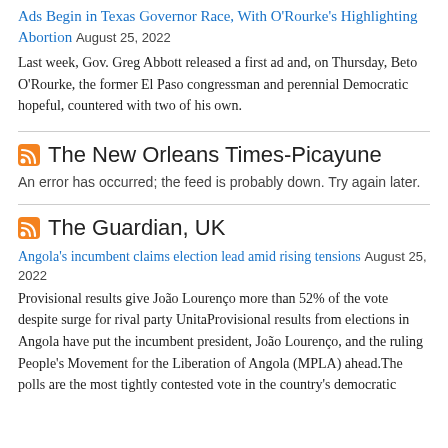Ads Begin in Texas Governor Race, With O'Rourke's Highlighting Abortion August 25, 2022
Last week, Gov. Greg Abbott released a first ad and, on Thursday, Beto O'Rourke, the former El Paso congressman and perennial Democratic hopeful, countered with two of his own.
The New Orleans Times-Picayune
An error has occurred; the feed is probably down. Try again later.
The Guardian, UK
Angola's incumbent claims election lead amid rising tensions August 25, 2022
Provisional results give João Lourenço more than 52% of the vote despite surge for rival party UnitaProvisional results from elections in Angola have put the incumbent president, João Lourenço, and the ruling People's Movement for the Liberation of Angola (MPLA) ahead.The polls are the most tightly contested vote in the country's democratic